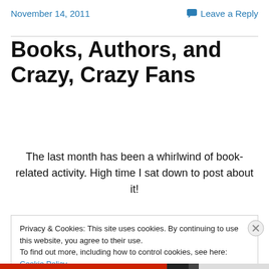November 14, 2011   💬 Leave a Reply
Books, Authors, and Crazy, Crazy Fans
The last month has been a whirlwind of book-related activity. High time I sat down to post about it!
Privacy & Cookies: This site uses cookies. By continuing to use this website, you agree to their use.
To find out more, including how to control cookies, see here: Cookie Policy
Close and accept